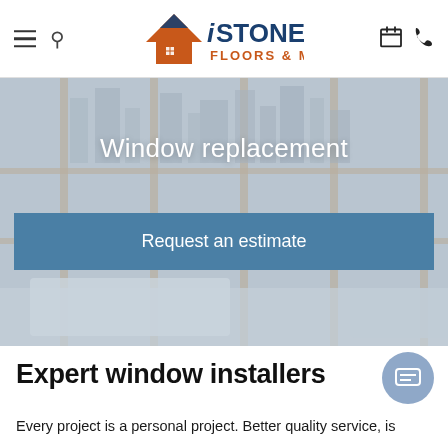[Figure (logo): iSTONE Floors & More logo with orange house/mountain icon and dark blue text]
[Figure (photo): Hero banner showing a modern bright interior room with large windows overlooking a city skyline, overlaid with semi-transparent blue-gray tint]
Window replacement
Request an estimate
Expert window installers
Every project is a personal project. Better quality service, is